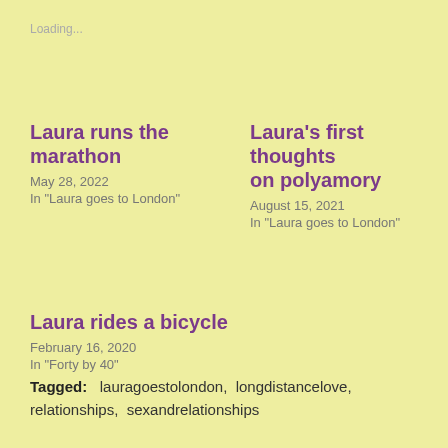Loading...
Laura runs the marathon
May 28, 2022
In "Laura goes to London"
Laura’s first thoughts on polyamory
August 15, 2021
In "Laura goes to London"
Laura rides a bicycle
February 16, 2020
In "Forty by 40"
Tagged:   lauragoestolondon,  longdistancelove,  relationships,  sexandrelationships